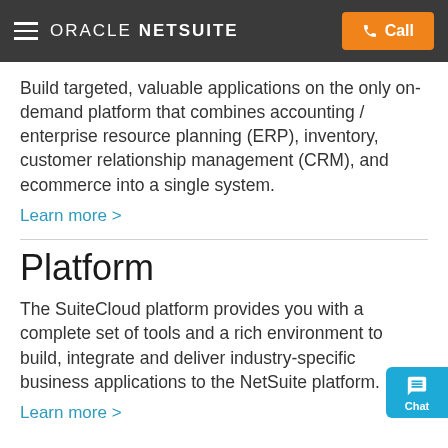ORACLE NETSUITE   Call
Build targeted, valuable applications on the only on-demand platform that combines accounting / enterprise resource planning (ERP), inventory, customer relationship management (CRM), and ecommerce into a single system.
Learn more >
Platform
The SuiteCloud platform provides you with a complete set of tools and a rich environment to build, integrate and deliver industry-specific business applications to the NetSuite platform.
Learn more >